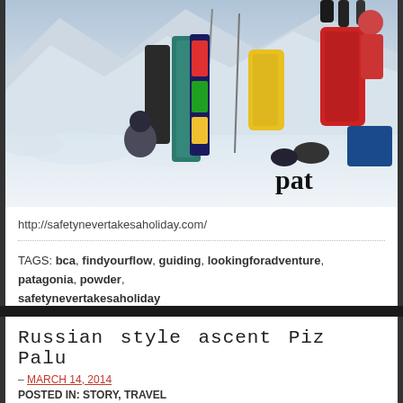[Figure (photo): Outdoor winter/snow scene showing ski equipment, colorful jackets and gear hanging up in snow, person in winter gear sitting, mountain background, Patagonia brand logo partially visible bottom right]
http://safetynevertakesaholiday.com/
TAGS: bca, findyourflow, guiding, lookingforadventure, patagonia, powder, safetynevertakesaholiday
Russian style ascent Piz Palu
– MARCH 14, 2014
POSTED IN: STORY, TRAVEL